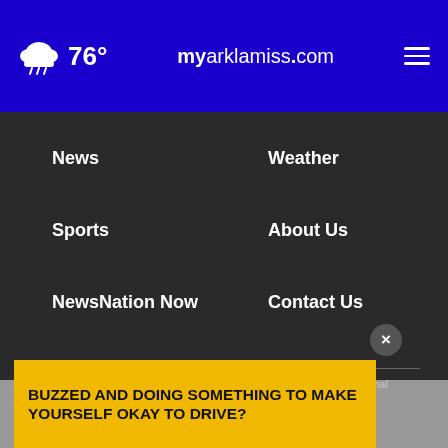76° myarklamiss.com
News
Weather
Sports
About Us
NewsNation Now
Contact Us
KARD EEO Report
KARD FCC Public File
KTVE FCC Public File
Nexstar CC Certification
Public File...
Privacy Policy...
Terms Of Use
Do Not Sell My Personal
[Figure (screenshot): Advertisement banner with yellow background reading: BUZZED AND DOING SOMETHING TO MAKE YOURSELF OKAY TO DRIVE? with a close button (×)]